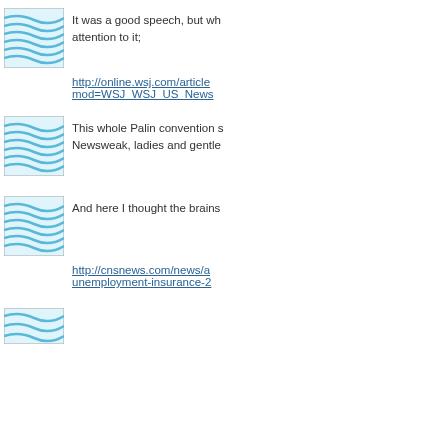[Figure (illustration): Thumbnail image with blue wavy pattern - first row]
It was a good speech, but wh attention to it;
http://online.wsj.com/article mod=WSJ_WSJ_US_News
[Figure (illustration): Thumbnail image with blue wavy pattern - second row]
This whole Palin convention s Newsweak, ladies and gentle
[Figure (illustration): Thumbnail image with blue wavy pattern - third row]
And here I thought the brains
http://cnsnews.com/news/a unemployment-insurance-2
[Figure (illustration): Thumbnail image with blue wavy pattern - fourth row (partial)]